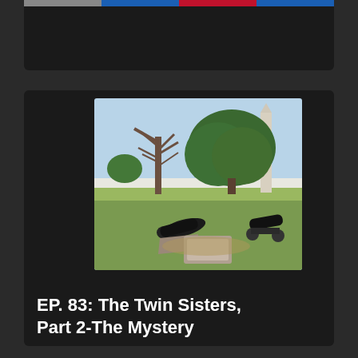[Figure (photo): Outdoor park photo showing two cannons on a grassy field with trees and a tall monument (obelisk) visible in the background. A stone marker/plaque is visible in the center foreground.]
EP. 83: The Twin Sisters, Part 2-The Mystery